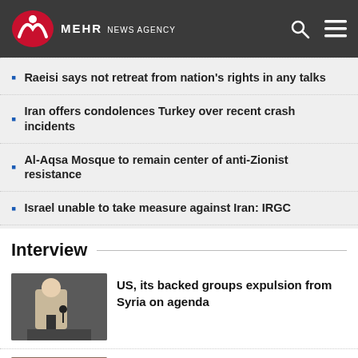MEHR NEWS AGENCY
Raeisi says not retreat from nation's rights in any talks
Iran offers condolences Turkey over recent crash incidents
Al-Aqsa Mosque to remain center of anti-Zionist resistance
Israel unable to take measure against Iran: IRGC
Interview
US, its backed groups expulsion from Syria on agenda
Martyrdom of Hussein turning point in history of Islam
Imam Khomeini gave us impetus to topple apartheid gov.